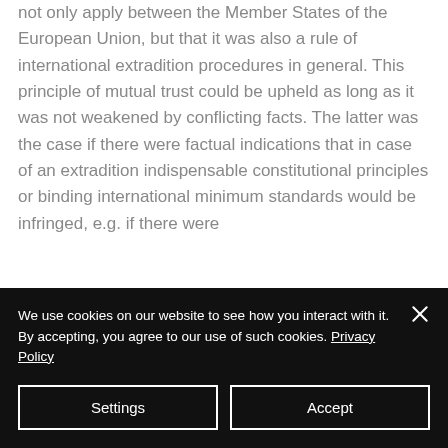not only apply between the Member States of the European Union, but that it was also a rule of international extradition procedures in general. This principle of mutual trust could be upheld as long as it was not weakened by conflicting facts. The latter was the case if there were factual indications that in case of an extradition indispensable constitutional principles or binding international minimum standards would be infringed, e.g. if there were
We use cookies on our website to see how you interact with it. By accepting, you agree to our use of such cookies. Privacy Policy